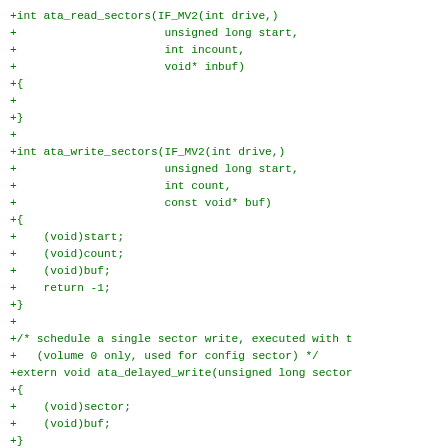+int ata_read_sectors(IF_MV2(int drive,)
+                      unsigned long start,
+                      int incount,
+                      void* inbuf)
+{
+
+}
+
+int ata_write_sectors(IF_MV2(int drive,)
+                      unsigned long start,
+                      int count,
+                      const void* buf)
+{
+    (void)start;
+    (void)count;
+    (void)buf;
+    return -1;
+}
+
+/* schedule a single sector write, executed with t
+   (volume 0 only, used for config sector) */
+extern void ata_delayed_write(unsigned long sector
+{
+    (void)sector;
+    (void)buf;
+}
+
+/* write the delayed sector to volume 0 */
+extern void ata_flush(void)
+{